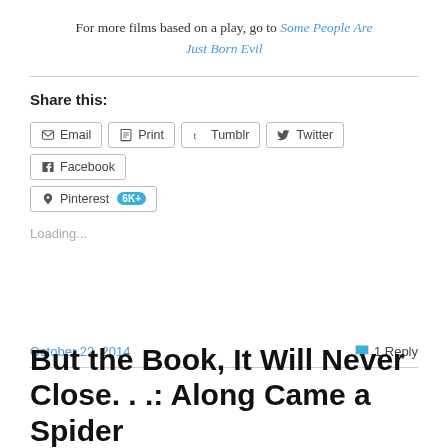For more films based on a play, go to Some People Are Just Born Evil
Share this:
Email  Print  Tumblr  Twitter  Facebook  Pinterest 6K+
Loading...
October 22, 2014    1 Reply
But the Book, It Will Never Close. . .: Along Came a Spider